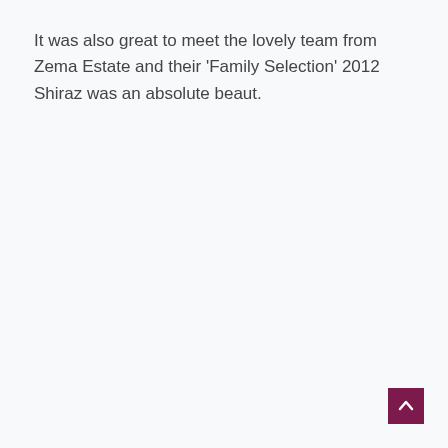It was also great to meet the lovely team from Zema Estate and their ‘Family Selection’ 2012 Shiraz was an absolute beaut.
[Figure (other): Back to top button - a dark purple/maroon square with a white upward-pointing chevron arrow]